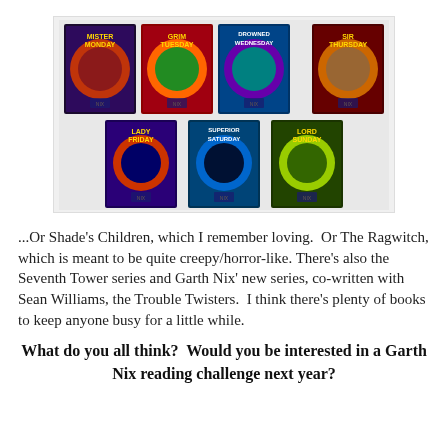[Figure (photo): A collection of 7 fantasy book covers by Garth Nix from the Keys to the Kingdom series: Mister Monday, Grim Tuesday, Drowned Wednesday, Sir Thursday (top row), Lady Friday, Superior Saturday, Lord Sunday (bottom row). Colorful illustrated covers with circular artwork.]
...Or Shade's Children, which I remember loving.  Or The Ragwitch, which is meant to be quite creepy/horror-like.  There's also the Seventh Tower series and Garth Nix' new series, co-written with Sean Williams, the Trouble Twisters.  I think there's plenty of books to keep anyone busy for a little while.
What do you all think?  Would you be interested in a Garth Nix reading challenge next year?